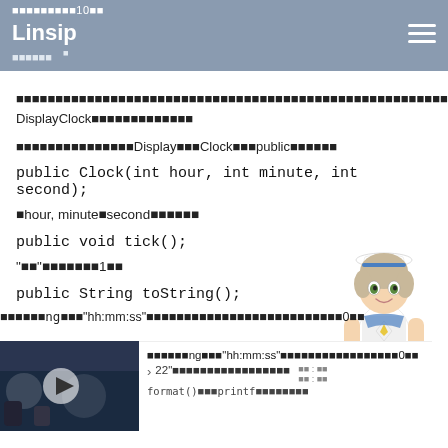Linsip — ■■■■■■■10■■ / ■■■■■■
■■■■■■■■■■■■■■■■■■■■■■■■■■■■■■■■■■■■■■■■■■■■■■■■■■■■■■■■■■■■■■DisplayClock■■■■■■■■■■■■■
■■■■■■■■■■■■■■■Display■■■■Clock■■■public■■■■■■
public Clock(int hour, int minute, int second);
■hour, minute■second■■■■■■
public void tick();
"■■"■■■■■■■1■■
public String toString();
■■■■■■ng■■■"hh:mm:ss"■■■■■■■■■■■■■■■■■■■■■■■■■■0■■
> 22"■■■■■■■■■■■■■■■■■
format()■■■printf■■■■■■■■